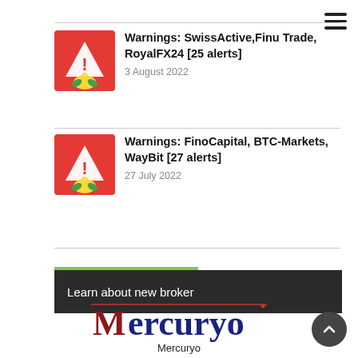Warnings: SwissActive,Finu Trade, RoyalFX24 [25 alerts]
3 August 2022
Warnings: FinoCapital, BTC-Markets, WayBit [27 alerts]
27 July 2022
Learn about new broker
[Figure (logo): Mercuryo logo - dark red and blue stylized text on white background]
Mercuryo